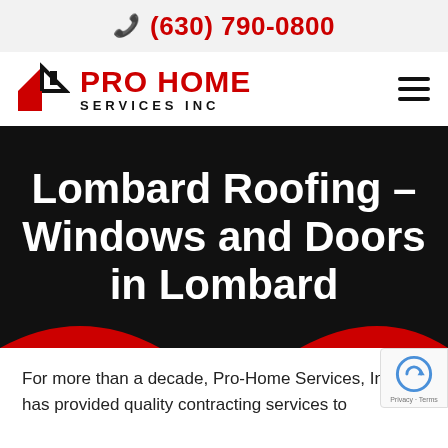(630) 790-0800
[Figure (logo): Pro Home Services Inc logo with red house/roof icon and red bold PRO HOME text with black SERVICES INC subtitle]
Lombard Roofing – Windows and Doors in Lombard
For more than a decade, Pro-Home Services, Inc. has provided quality contracting services to